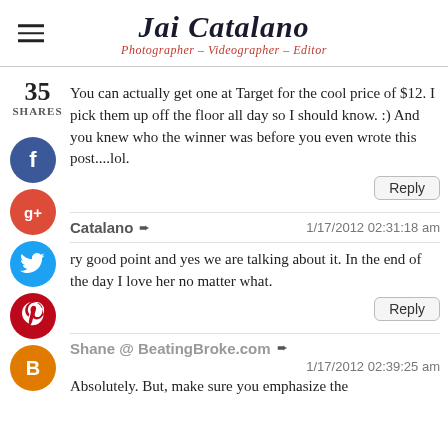Jai Catalano — Photographer – Videographer – Editor
You can actually get one at Target for the cool price of $12. I pick them up off the floor all day so I should know. :) And you knew who the winner was before you even wrote this post....lol.
Reply
Catalano  1/17/2012 02:31:18 am
ry good point and yes we are talking about it. In the end of the day I love her no matter what.
Reply
Shane @ BeatingBroke.com
1/17/2012 02:39:25 am
Absolutely. But, make sure you emphasize the